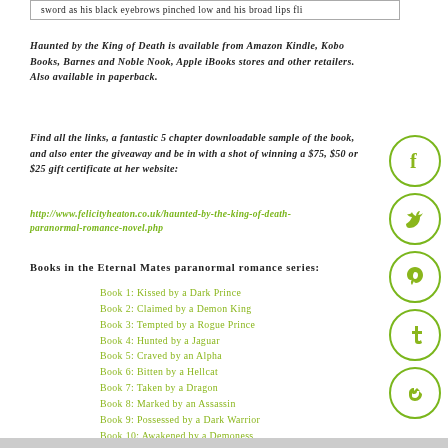sword as his black eyebrows pinched low and his broad lips fli
Haunted by the King of Death is available from Amazon Kindle, Kobo Books, Barnes and Noble Nook, Apple iBooks stores and other retailers. Also available in paperback.
Find all the links, a fantastic 5 chapter downloadable sample of the book, and also enter the giveaway and be in with a shot of winning a $75, $50 or $25 gift certificate at her website: http://www.felicityheaton.co.uk/haunted-by-the-king-of-death-paranormal-romance-novel.php
Books in the Eternal Mates paranormal romance series:
Book 1: Kissed by a Dark Prince
Book 2: Claimed by a Demon King
Book 3: Tempted by a Rogue Prince
Book 4: Hunted by a Jaguar
Book 5: Craved by an Alpha
Book 6: Bitten by a Hellcat
Book 7: Taken by a Dragon
Book 8: Marked by an Assassin
Book 9: Possessed by a Dark Warrior
Book 10: Awakened by a Demoness
Book 11: Haunted by the King of Death